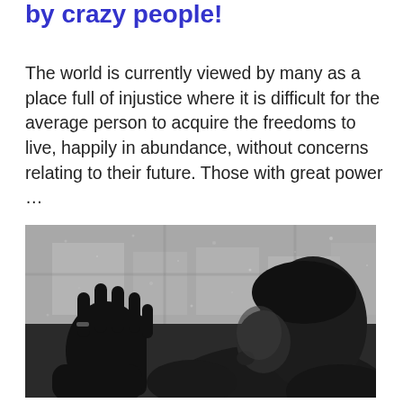by crazy people!
The world is currently viewed by many as a place full of injustice where it is difficult for the average person to acquire the freedoms to live, happily in abundance, without concerns relating to their future. Those with great power …
[Figure (photo): Black and white photograph of a person pressing their hand against a rain-covered window, with their face in profile visible to the right, looking outside at a blurred urban background.]